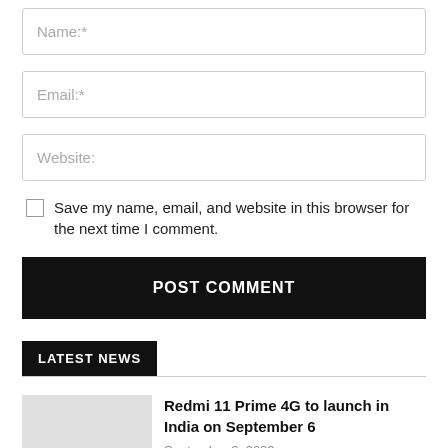Name:*
Email:*
Website:
Save my name, email, and website in this browser for the next time I comment.
POST COMMENT
LATEST NEWS
Redmi 11 Prime 4G to launch in India on September 6
September 2, 2022